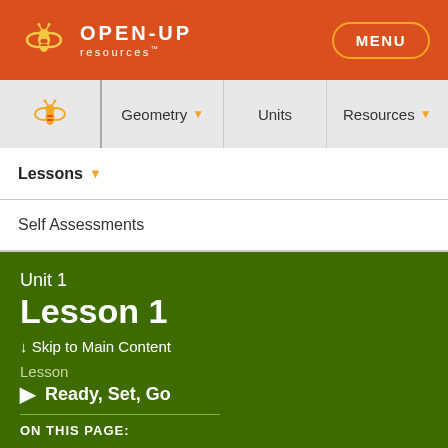[Figure (logo): Open Up Resources logo with bee icon in orange header bar with MENU button]
Geometry ▾   Units   Resources ▾
Lessons ▾
Self Assessments
Unit 1
Lesson 1
↓ Skip to Main Content
Lesson
▶ Ready, Set, Go
ON THIS PAGE: